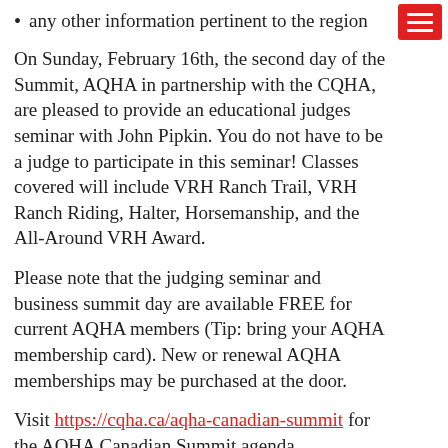any other information pertinent to the region
On Sunday, February 16th, the second day of the Summit, AQHA in partnership with the CQHA, are pleased to provide an educational judges seminar with John Pipkin. You do not have to be a judge to participate in this seminar! Classes covered will include VRH Ranch Trail, VRH Ranch Riding, Halter, Horsemanship, and the All-Around VRH Award.
Please note that the judging seminar and business summit day are available FREE for current AQHA members (Tip: bring your AQHA membership card). New or renewal AQHA memberships may be purchased at the door.
Visit https://cqha.ca/aqha-canadian-summit for the AQHA Canadian Summit agenda